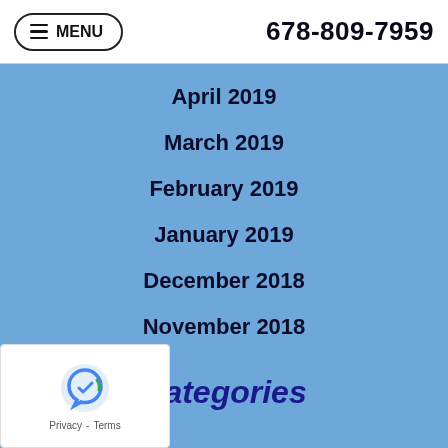MENU | 678-809-7959
April 2019
March 2019
February 2019
January 2019
December 2018
November 2018
Categories
Air Conditioning